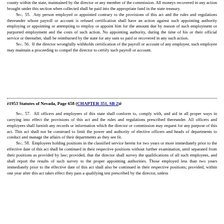county within the state, maintained by the director or any member of the commission. All moneys recovered in any action brought under this section when collected shall be paid into the appropriate fund in the state treasury. SEC. 55. Any person employed or appointed contrary to the provisions of this act and the rules and regulations thereunder whose payroll or account is refused certification shall have an action against such appointing authority employing or appointing or attempting to employ or appoint him for the amount due by reason of such employment or purported employment and the costs of such action. No appointing authority, during the time of his or their official service or thereafter, shall be reimbursed by the state for any sum so paid or recovered in any such action. SEC. 56. If the director wrongfully withholds certification of the payroll or account of any employee, such employee may maintain a proceeding to compel the director to certify such payroll or account.
ê1953 Statutes of Nevada, Page 658 (CHAPTER 351, SB 2)ê
SEC. 57. All officers and employees of this state shall conform to, comply with, and aid in all proper ways in carrying into effect the provisions of this act and the rules and regulations prescribed thereunder. All officers and employees shall furnish any records or information which the director or commission may request for any purpose of this act. This act shall not be construed to limit the power and authority of elective officers and heads of departments to conduct and manage the affairs of their departments as they see fit. SEC. 58. Employees holding positions in the classified service herein for two years or more immediately prior to the effective date of this act shall be continued in their respective positions without further examination, until separated from their positions as provided by law; provided, that the director shall survey the qualifications of all such employees, and shall report the results of such survey to the proper appointing authorities. Those employed less than two years immediately prior to the effective date of this act shall also be continued in their respective positions; provided, within one year after this act takes effect they pass a qualifying test prescribed by the director, unless